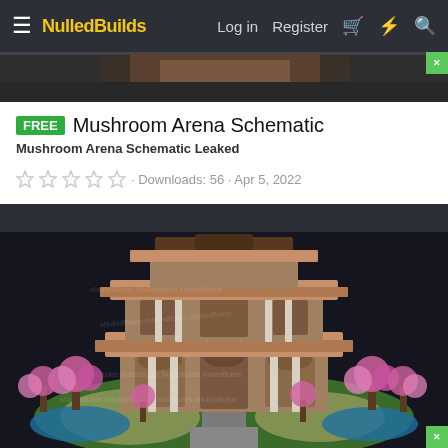NulledBuilds — Log in  Register
[Figure (screenshot): Partial top image strip of a Minecraft arena build preview, dark background]
FREE  Mushroom Arena Schematic
Mushroom Arena Schematic Leaked
· Downloads: 56 · Apr 5, 2022
[Figure (screenshot): 3D rendered Minecraft build of a multi-level arena structure with tan/brown roofs, white pillars, arched doorways, pink cherry blossom trees, green grass base, small ponds, and a central pathway, set against a dark background.]